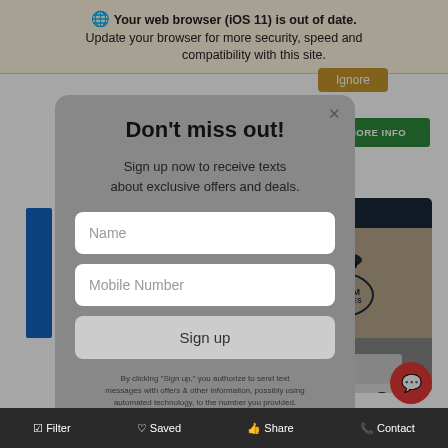🌐 Your web browser (iOS 11) is out of date. Update your browser for more security, speed and compatibility with this site.
GET MORE INFO
[Figure (screenshot): Kareem Auto Sales banner with 'Deals in Town' text and logo on dark background, with white truck visible below]
Don't miss out!
Sign up now to receive texts about exclusive offers and deals.
Name
Mobile Number
Sign up
By clicking "Sign up," you authorize to send text messages with offers & other information, possibly using automated technology, to the number you provided. Message/data rates apply. Consent is not condition of purchase.
Filter   Saved   Share   Contact